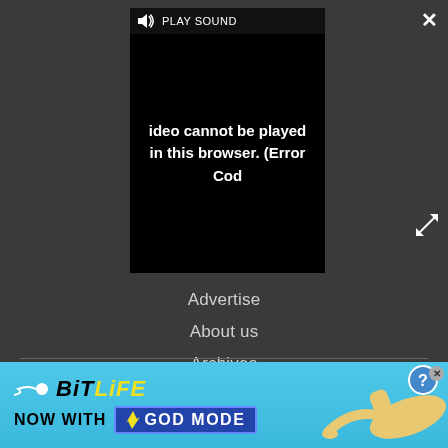[Figure (screenshot): Video player showing error: 'Video cannot be played in this browser. (Error Cod' with PLAY SOUND button and speaker icon in top-left. Close (X) and expand (arrows) buttons visible.]
Advertise
About us
Archives
Careers
Do not sell my info
[Figure (screenshot): BitLife advertisement banner showing 'BitLife NOW WITH GOD MODE' on a light blue background with cartoon hand illustrations and lightning bolt graphic.]